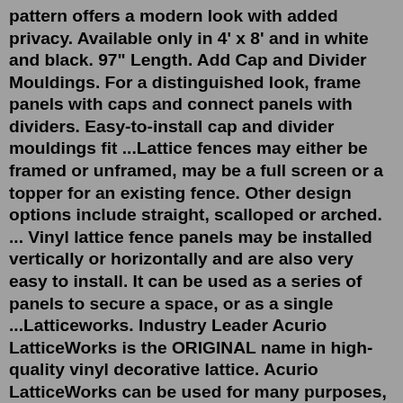pattern offers a modern look with added privacy. Available only in 4' x 8' and in white and black. 97" Length. Add Cap and Divider Mouldings. For a distinguished look, frame panels with caps and connect panels with dividers. Easy-to-install cap and divider mouldings fit ...Lattice fences may either be framed or unframed, may be a full screen or a topper for an existing fence. Other design options include straight, scalloped or arched. ... Vinyl lattice fence panels may be installed vertically or horizontally and are also very easy to install. It can be used as a series of panels to secure a space, or as a single ...Latticeworks. Industry Leader Acurio LatticeWorks is the ORIGINAL name in high-quality vinyl decorative lattice. Acurio LatticeWorks can be used for many purposes, both indoors and outdoors. Our UV-stabilized and weather-resistant vinyl lattice is made of high-quality, lightweight PVC. It stands the test of time and is easily cleaned. Framed pieces of vinyl lattice can add an extra little something and give